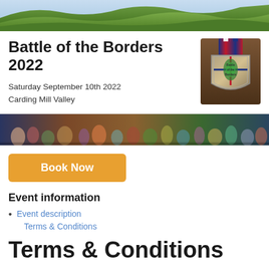[Figure (photo): Green hillside landscape banner at the top of the page]
Battle of the Borders 2022
Saturday September 10th 2022
Carding Mill Valley
[Figure (photo): Battle of the Borders medal — shield-shaped metal medal with UK flag and dragon motif]
[Figure (photo): Wide banner photo of a large crowd of runners at the start of the race]
Book Now
Event information
Event description
Terms & Conditions
Terms & Conditions